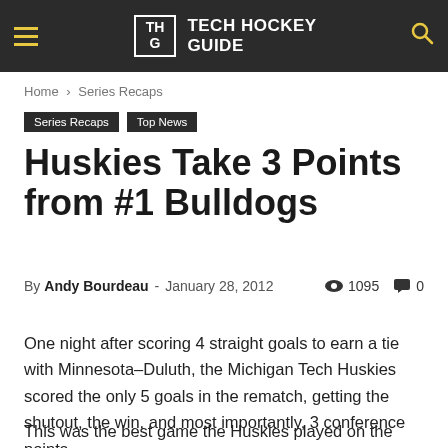TECH HOCKEY GUIDE
Home › Series Recaps
Series Recaps | Top News
Huskies Take 3 Points from #1 Bulldogs
By Andy Bourdeau - January 28, 2012  👁 1095  💬 0
One night after scoring 4 straight goals to earn a tie with Minnesota–Duluth, the Michigan Tech Huskies scored the only 5 goals in the rematch, getting the shutout, the win, and most importantly, 3 conference points.
This was the best game the Huskies played on the year, and